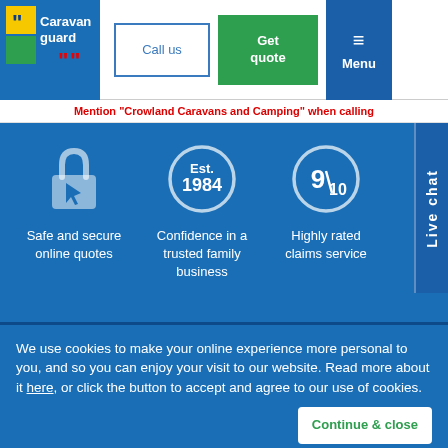[Figure (logo): Caravan Guard logo with quotation marks and colorful squares]
Call us
Get quote
Menu
Mention "Crowland Caravans and Camping" when calling
[Figure (infographic): Three icons: padlock for safe and secure online quotes, Est. 1984 circle badge for trusted family business, 9/10 circle for highly rated claims service. Live chat tab on right.]
Safe and secure online quotes
Confidence in a trusted family business
Highly rated claims service
Live chat
We use cookies to make your online experience more personal to you, and so you can enjoy your visit to our website. Read more about it here, or click the button to accept and agree to our use of cookies.
Continue & close